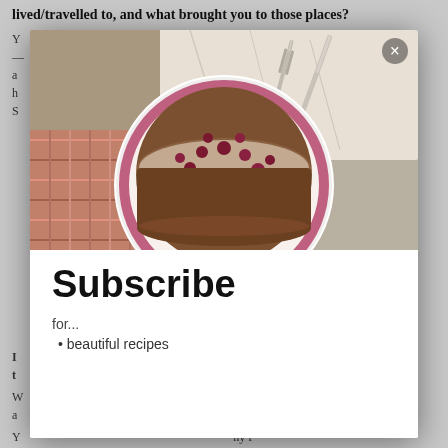lived/travelled to, and what brought you to those places?
Y... due... for... a... at... h... r to... S... ut a...
[Figure (photo): A round berry cake dusted with powdered sugar on a pink plate, with a white linen cloth and silverware (fork and knife) in the background. A modal/popup overlay with an X close button in the top right corner.]
I... ng... th...
A... ok... f...
A... not... n...
Subscribe
for...
beautiful recipes